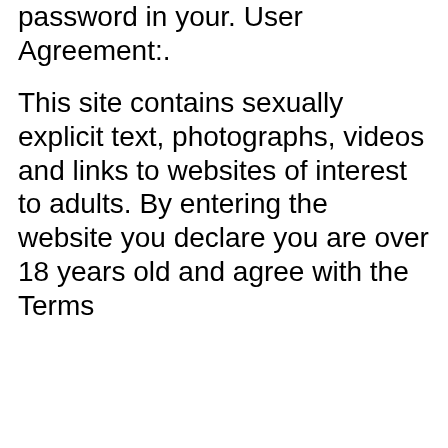password in your. User Agreement:.
This site contains sexually explicit text, photographs, videos and links to websites of interest to adults. By entering the website you declare you are over 18 years old and agree with the Terms